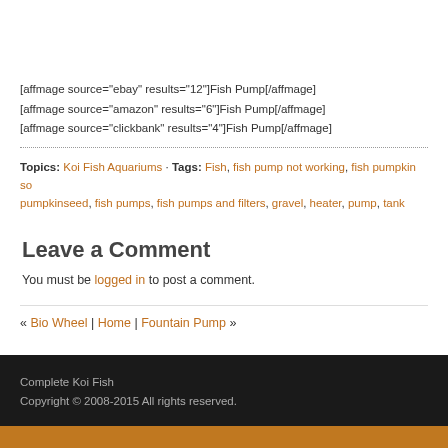[affmage source="ebay" results="12"]Fish Pump[/affmage]
[affmage source="amazon" results="6"]Fish Pump[/affmage]
[affmage source="clickbank" results="4"]Fish Pump[/affmage]
Topics: Koi Fish Aquariums · Tags: Fish, fish pump not working, fish pumpkin so... pumpkinseed, fish pumps, fish pumps and filters, gravel, heater, pump, tank
Leave a Comment
You must be logged in to post a comment.
« Bio Wheel | Home | Fountain Pump »
Complete Koi Fish
Copyright © 2008-2015 All rights reserved.